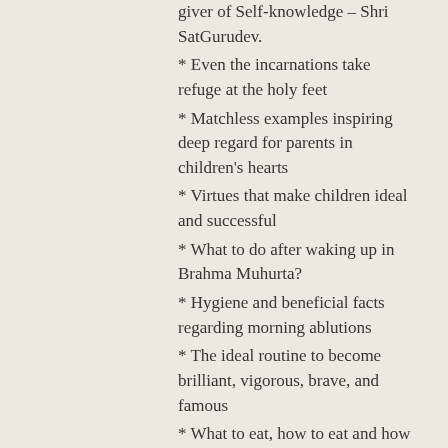giver of Self-knowledge – Shri SatGurudev.
* Even the incarnations take refuge at the holy feet
* Matchless examples inspiring deep regard for parents in children's hearts
* Virtues that make children ideal and successful
* What to do after waking up in Brahma Muhurta?
* Hygiene and beneficial facts regarding morning ablutions
* The ideal routine to become brilliant, vigorous, brave, and famous
* What to eat, how to eat and how to consecrate food before eating?